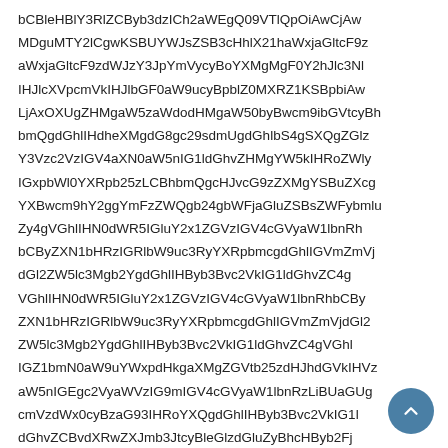bCBleHBlY3RlZCByb3dzICh2aWEgQ09VTlQpOiAwCjAwMDguMTY2lCgwKSBUYWJsZSB3cHhlX21haWxjaGltcF9zdWJzY3JpYmVycyBoYXMgMgF0Y2hJlc3NlIHJlcXVpcmVkIHJlbGF0aW9ucyBpblZ0MXRZ1KSBpbiAwLjAxOXUgZHMgaW5zaWdodHMgaW50byBwcm9ibGVtcyBhbmQgdGhlIHdheXMgdG8gc29sdmUgdGhlbS4gSXQgZGlzY3Vzc2VzIGV4aXN0aW5nIG1ldGhvZHMgYW5kIHRoZWlyIGxpbWl0YXRpb25zLCBhbmQgcHJvcG9zZXMgYSBuZXcgYXBwcm9hY2ggYmFzZWQgb24gbWFjaGluZSBsZWFybmluZy4gVGhlIHN0dWR5IGluY2x1ZGVzIGV4cGVyaW1lbnRhbCByZXN1bHRzIGRlbW9uc3RyYXRpbmcgdGhlIGVmZmVjdGl2ZW5lc3Mgb2YgdGhlIHByb3Bvc2VkIG1ldGhvZC4=